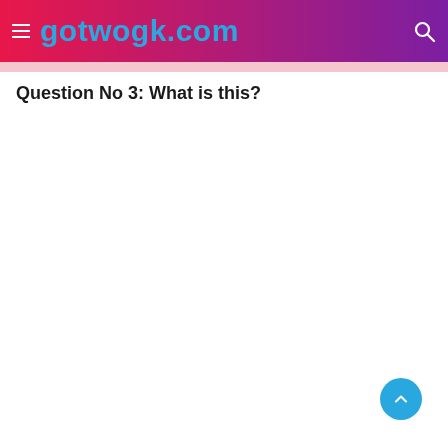gotwogk.com
Question No 3: What is this?